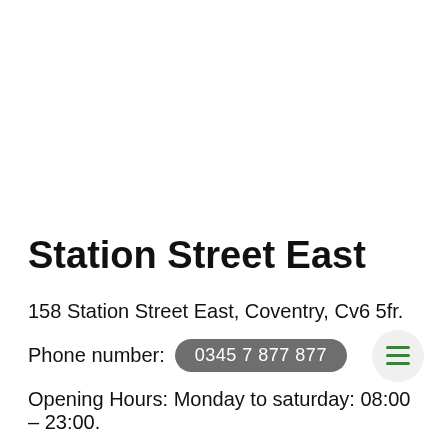Station Street East
158 Station Street East, Coventry, Cv6 5fr.
Phone number: 0345 7 877 877
Opening Hours: Monday to saturday: 08:00 – 23:00.